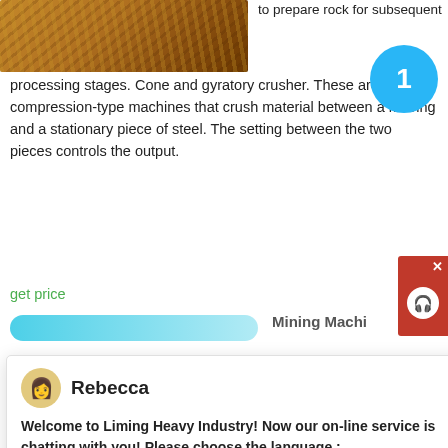[Figure (photo): Close-up photo of crushed rock/ore material, brownish-orange color, industrial mining context]
to prepare rock for subsequent processing stages. Cone and gyratory crusher. These are also compression-type machines that crush material between a moving and a stationary piece of steel. The setting between the two pieces controls the output.
get price
[Figure (screenshot): Partial screenshot showing blue bar and 'Mining Machi' text header]
Rebecca
Welcome to Liming Heavy Industry! Now our on-line service is chatting with you! Please choose the language :
[Figure (photo): Mining equipment and machinery on a worksite, overhead conveyor structures visible, sandy/earthy ground]
SHANGHAI MACHINERY LTD is one high-tech enterprise, which involves R&D, production, sales and service as well. In the past 20 years, we devote to producing mining equipments, sand making machines and industrial grinding mills, offering expressway, rail way and water conservancy projects the